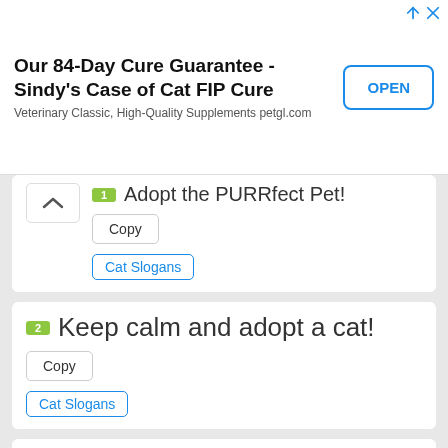[Figure (other): Advertisement banner: 'Our 84-Day Cure Guarantee - Sindy's Case of Cat FIP Cure' with subtitle 'Veterinary Classic, High-Quality Supplements petgl.com' and an OPEN button]
Adopt the PURRfect Pet!
Copy
Cat Slogans
Keep calm and adopt a cat!
Copy
Cat Slogans
[Figure (photo): Partial image showing text 'MY DOG' in white bold letters on a dark green/forest background]